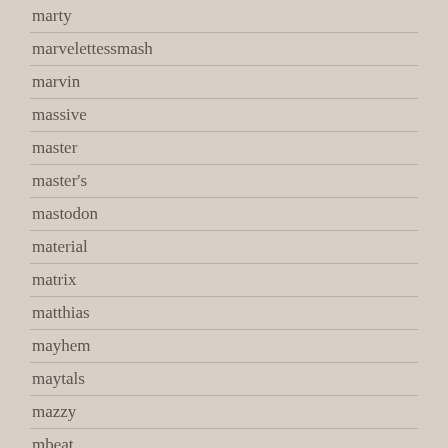marty
marvelettessmash
marvin
massive
master
master's
mastodon
material
matrix
matthias
mayhem
maytals
mazzy
mbeat
mccartney
mcintosh